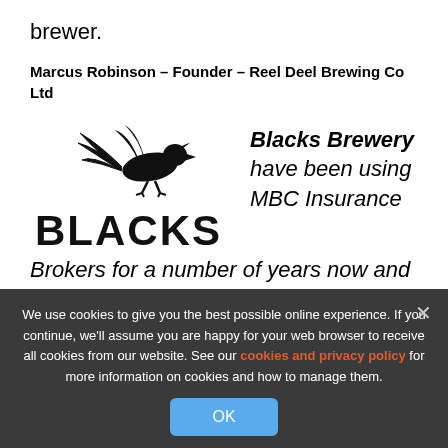brewer.
Marcus Robinson – Founder – Reel Deel Brewing Co Ltd
[Figure (logo): Blacks Brewery logo with a bird silhouette above the text BLACKS in bold block letters]
Blacks Brewery have been using MBC Insurance Brokers for a number of years now and have always found them very helpful and easy to deal
We use cookies to give you the best possible online experience. If you continue, we'll assume you are happy for your web browser to receive all cookies from our website. See our cookies and privacy policy for more information on cookies and how to manage them.
OK